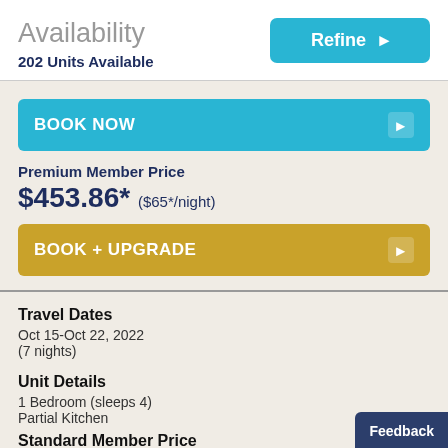Availability
202 Units Available
BOOK NOW
Premium Member Price
$453.86* ($65*/night)
BOOK + UPGRADE
Travel Dates
Oct 15-Oct 22, 2022
(7 nights)
Unit Details
1 Bedroom (sleeps 4)
Partial Kitchen
Standard Member Price
Feedback